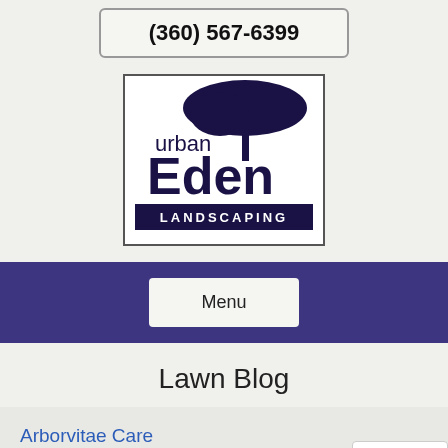(360) 567-6399
[Figure (logo): Urban Eden Landscaping logo with tree silhouette above text reading 'urban Eden LANDSCAPING']
Menu
Lawn Blog
Arborvitae Care
Posted on February 11th, 2022 by Urban Eden Landscaping